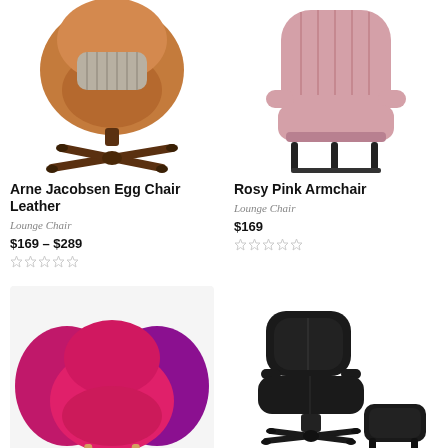[Figure (photo): Arne Jacobsen Egg Chair in tan/cognac leather with decorative pillow on swivel wooden base]
[Figure (photo): Rosy pink high-back armchair with channel tufting on dark metal legs]
Arne Jacobsen Egg Chair Leather
Lounge Chair
$169 – $289
☆☆☆☆☆
Rosy Pink Armchair
Lounge Chair
$169
☆☆☆☆☆
[Figure (photo): Hot pink/fuchsia pelican lounge chair with organic rounded form on wooden legs]
[Figure (photo): Black leather Eames lounge chair with matching ottoman on dark metal base]